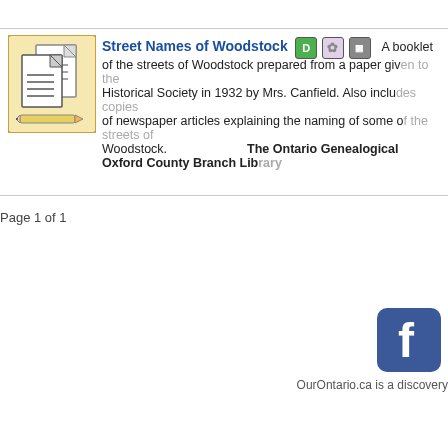[Figure (illustration): Thumbnail icon of two overlapping document pages with text lines, on a yellowish/parchment background, with a pencil at the bottom.]
Street Names of Woodstock
A booklet of the streets of Woodstock prepared from a paper given to the Historical Society in 1932 by Mrs. Canfield. Also includes copies of newspaper articles explaining the naming of some of the streets of Woodstock. The Ontario Genealogical Society, Oxford County Branch Library
Page 1 of 1
[Figure (logo): Facebook logo icon — blue square with white 'f' letter, rounded corners.]
OurOntario.ca is a discovery